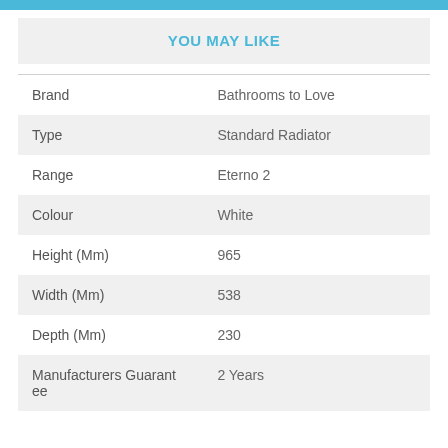YOU MAY LIKE
|  |  |
| --- | --- |
| Brand | Bathrooms to Love |
| Type | Standard Radiator |
| Range | Eterno 2 |
| Colour | White |
| Height (Mm) | 965 |
| Width (Mm) | 538 |
| Depth (Mm) | 230 |
| Manufacturers Guarantee | 2 Years |